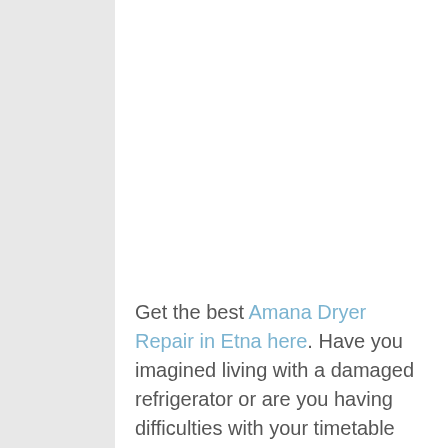Get the best Amana Dryer Repair in Etna here. Have you imagined living with a damaged refrigerator or are you having difficulties with your timetable because you are taking lots of time cleaning the dishes due to a damaged dish-washer? You might state that this is a typical dilemma in households, but how will you deal with the food in your